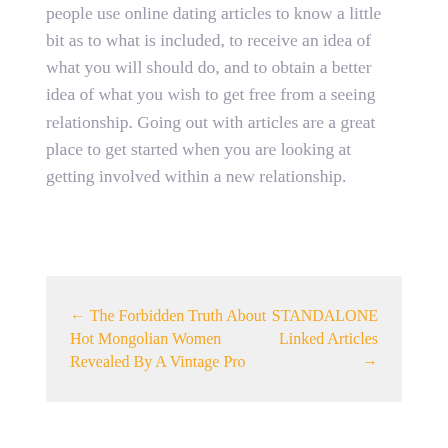people use online dating articles to know a little bit as to what is included, to receive an idea of what you will should do, and to obtain a better idea of what you wish to get free from a seeing relationship. Going out with articles are a great place to get started when you are looking at getting involved within a new relationship.
← The Forbidden Truth About Hot Mongolian Women Revealed By A Vintage Pro
STANDALONE Linked Articles →